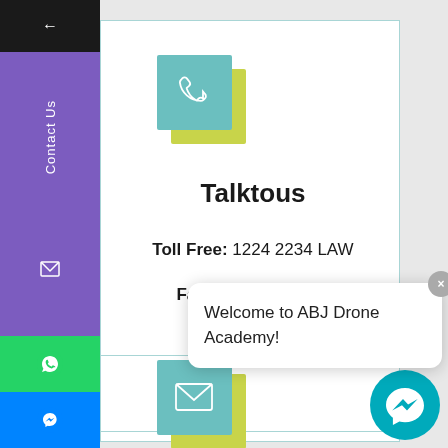[Figure (screenshot): Left sidebar with dark top section with back arrow, purple Contact Us section with icons, green WhatsApp button, and blue Messenger button]
Talktous
Toll Free: 1224 2234 LAW
Fax: 1224 2235 225
Welcome to ABJ Drone Academy!
[Figure (illustration): Teal square with phone icon overlapping a yellow-green square]
[Figure (illustration): Teal square with envelope/email icon overlapping a yellow-green square]
[Figure (illustration): Teal circular chat bubble icon in bottom right]